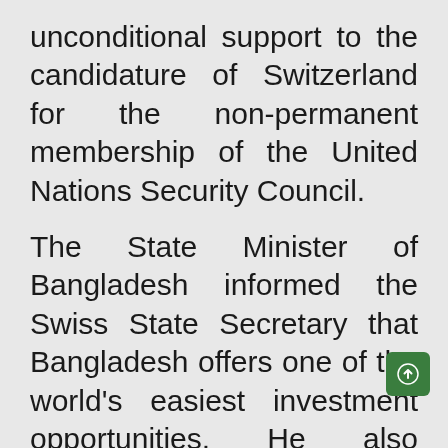unconditional support to the candidature of Switzerland for the non-permanent membership of the United Nations Security Council.
The State Minister of Bangladesh informed the Swiss State Secretary that Bangladesh offers one of the world's easiest investment opportunities. He also flagged Bangladesh's outstanding success in socio-economic development under the visionary leadership of Prime Minister Sheikh Hasina.